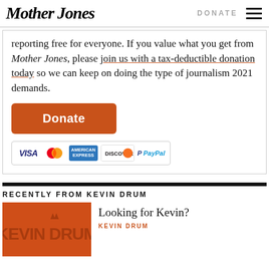Mother Jones | DONATE
reporting free for everyone. If you value what you get from Mother Jones, please join us with a tax-deductible donation today so we can keep on doing the type of journalism 2021 demands.
[Figure (other): Orange Donate button followed by payment method icons: VISA, MasterCard, American Express, Discover, PayPal]
RECENTLY FROM KEVIN DRUM
[Figure (other): Kevin Drum orange logo thumbnail]
Looking for Kevin?
KEVIN DRUM